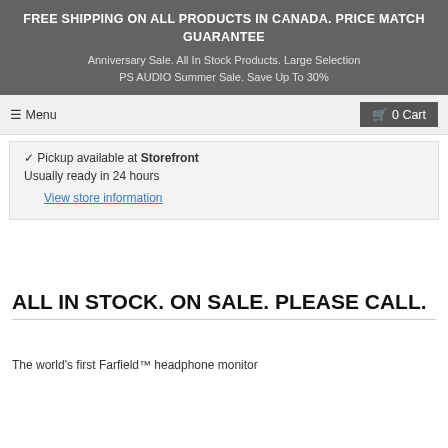FREE SHIPPING ON ALL PRODUCTS IN CANADA. PRICE MATCH GUARANTEE
Anniversary Sale. All In Stock Products. Large Selection
PS AUDIO Summer Sale. Save Up To 30%
☰ Menu
🛒 0 Cart
Pickup available at Storefront
Usually ready in 24 hours
View store information
ALL IN STOCK. ON SALE. PLEASE CALL.
The world's first Farfield™ headphone monitor